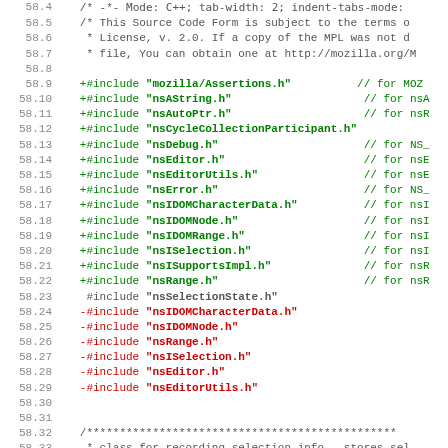Source code diff view showing C++ header includes with line numbers 58.4 through 58.35. Gray lines are context, green lines are additions (+), red lines are removals (-).